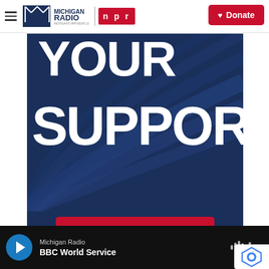Michigan Radio | NPR | Donate
[Figure (illustration): Michigan Radio NPR promotional banner with dark navy background, decorative rays, bold white text reading 'YOUR SUPPORT.' and a red button labeled 'Yes, I'll Support Michigan Radio!']
Michigan Radio — BBC World Service (audio player bar)